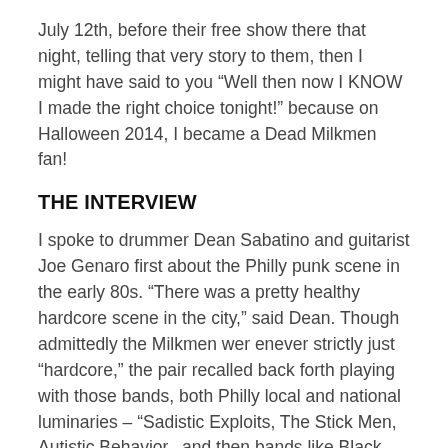July 12th, before their free show there that night, telling that very story to them, then I might have said to you “Well then now I KNOW I made the right choice tonight!” because on Halloween 2014, I became a Dead Milkmen fan!
THE INTERVIEW
I spoke to drummer Dean Sabatino and guitarist Joe Genaro first about the Philly punk scene in the early 80s. “There was a pretty healthy hardcore scene in the city,” said Dean. Though admittedly the Milkmen wer enever strictly just “hardcore,” the pair recalled back forth playing with those bands, both Philly local and national luminaries – “Sadistic Exploits, The Stick Men, Autistic Behavior...and then bands like Black Flag, Hüsker Dü came and